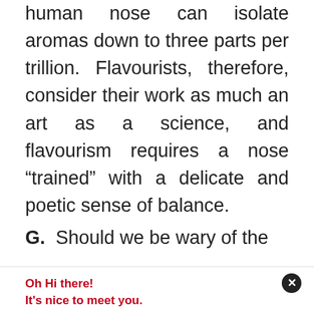human nose can isolate aromas down to three parts per trillion. Flavourists, therefore, consider their work as much an art as a science, and flavourism requires a nose “trained” with a delicate and poetic sense of balance.
G. Should we be wary of the
Oh Hi there!
It's nice to meet you.

Sign up to receive awesome content in your inbox, every week.